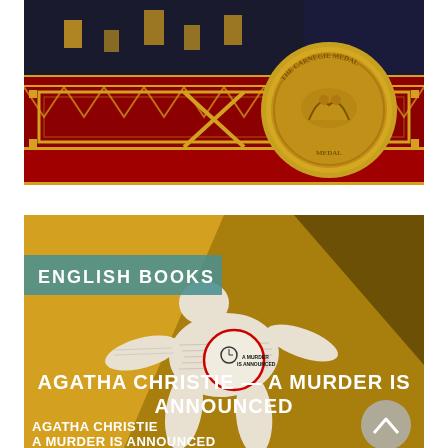[Figure (photo): Close-up of an ornate red and gold book cover with decorative border patterns, crossed keys or scepters motif in center, and a large golden Carnegie Medal medallion on the right side. Dark castle or building visible in the upper portion.]
[Figure (photo): Book cover image for 'Agatha Christie — A Murder Is Announced'. Yellow/amber background with a chalk outline of a human body made of newspaper, with a circular newspaper clipping reading 'A Murder Is Announced'. A teal banner reads 'ENGLISH BOOKS' in the upper left. Large white bold text overlay reads 'AGATHA CHRISTIE — A MURDER IS ANNOUNCED'. At bottom left, the book title text reads 'AGATHA CHRISTIE / A MURDER IS ANNOUNCED'. A grey circular scroll-to-top button is visible at bottom right.]